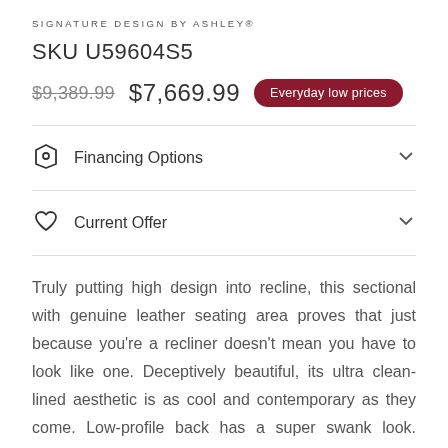SIGNATURE DESIGN BY ASHLEY®
SKU U59604S5
$9,389.99  $7,669.99  Everyday low prices
Financing Options
Current Offer
Truly putting high design into recline, this sectional with genuine leather seating area proves that just because you're a recliner doesn't mean you have to look like one. Deceptively beautiful, its ultra clean-lined aesthetic is as cool and contemporary as they come. Low-profile back has a super swank look. When you need more support for your head and neck, the press of a button engages the